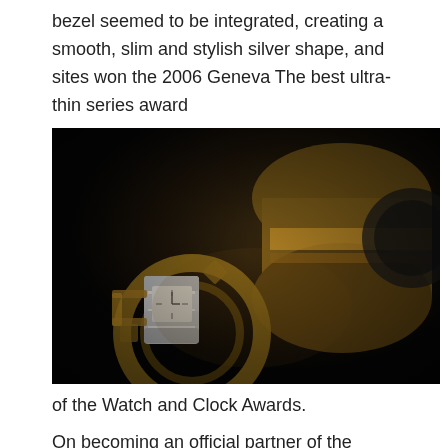bezel seemed to be integrated, creating a smooth, slim and stylish silver shape, and sites won the 2006 Geneva The best ultra-thin series award
[Figure (photo): Close-up dark photograph of a luxury watch with golden and silver metallic elements against a black background, showing intricate gear-like details and a rectangular dial.]
of the Watch and Clock Awards.
On becoming an official partner of the International Film Festival, Bulgari continued its tradition, customizing medals for the best male and actress awards, and commending outstanding actors for their contributions to the art of film.